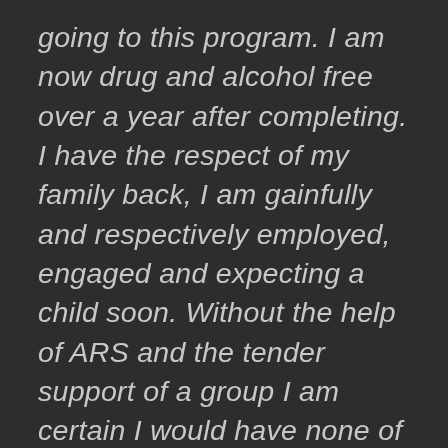going to this program. I am now drug and alcohol free over a year after completing. I have the respect of my family back, I am gainfully and respectively employed, engaged and expecting a child soon. Without the help of ARS and the tender support of a group I am certain I would have none of this. Getting my life back and making connections with people that want what is best for you is what this program is all about. You will find educated and nurturing staff willing to help you however they can. I am